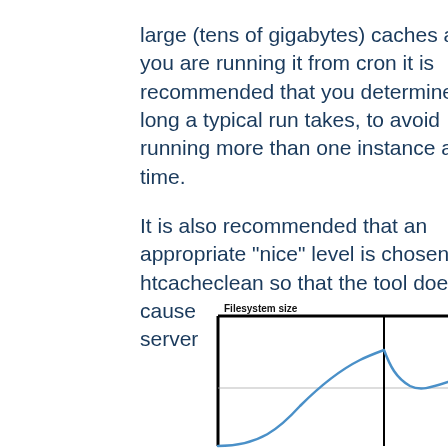large (tens of gigabytes) caches and if you are running it from cron it is recommended that you determine how long a typical run takes, to avoid running more than one instance at a time.
It is also recommended that an appropriate "nice" level is chosen for htcacheclean so that the tool does not cause excessive disk io while the server is running.
[Figure (continuous-plot): A line chart titled 'Filesystem size' showing a curve that rises steeply then levels off, peaks at a vertical marker line, drops sharply, then rises again toward the right edge. The chart has a black border with horizontal and vertical gridlines.]